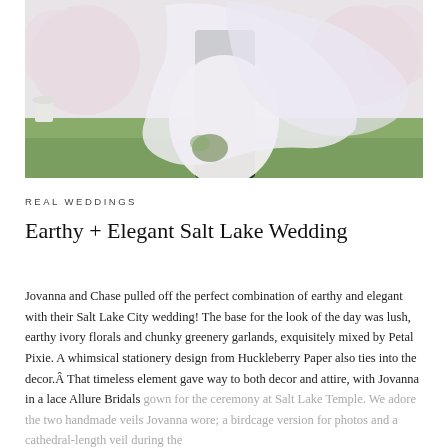[Figure (photo): Wedding photo of a bride and groom outdoors; the bride's white veil cascades over both of them, with blossoming cherry trees and green lawn visible in the background.]
REAL WEDDINGS
Earthy + Elegant Salt Lake Wedding
Jovanna and Chase pulled off the perfect combination of earthy and elegant with their Salt Lake City wedding! The base for the look of the day was lush, earthy ivory florals and chunky greenery garlands, exquisitely mixed by Petal Pixie. A whimsical stationery design from Huckleberry Paper also ties into the decor.Â That timeless element gave way to both decor and attire, with Jovanna in a lace Allure Bridals gown for the ceremony at Salt Lake Temple. We adore the two handmade veils Jovanna wore; a birdcage version for photos and a cathedral-length veil during the